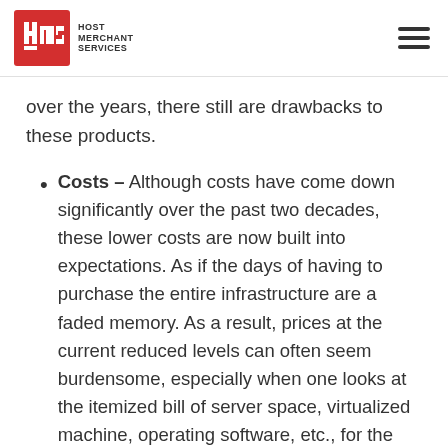Host Merchant Services
over the years, there still are drawbacks to these products.
Costs – Although costs have come down significantly over the past two decades, these lower costs are now built into expectations. As if the days of having to purchase the entire infrastructure are a faded memory. As a result, prices at the current reduced levels can often seem burdensome, especially when one looks at the itemized bill of server space, virtualized machine, operating software, etc., for the entire